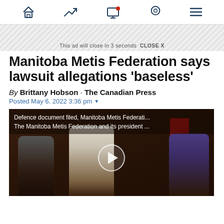Navigation bar with home, trending, notifications, location, and menu icons
This ad will close in 3 seconds  CLOSE X
Manitoba Metis Federation says lawsuit allegations 'baseless'
By Brittany Hobson · The Canadian Press
Posted May 6, 2022 3:36 pm
[Figure (photo): Video thumbnail showing three people wearing traditional Métis beaded vests at what appears to be a signing or meeting event. Overlay text reads: 'Defence document filed, Manitoba Metis Federati... / The Manitoba Metis Federation and its president ...' with a play button in the center.]